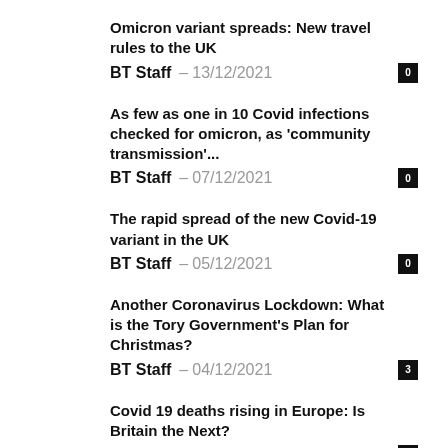Omicron variant spreads: New travel rules to the UK
BT Staff – 13/12/2021
As few as one in 10 Covid infections checked for omicron, as 'community transmission'...
BT Staff – 07/12/2021
The rapid spread of the new Covid-19 variant in the UK
BT Staff – 05/12/2021
Another Coronavirus Lockdown: What is the Tory Government's Plan for Christmas?
BT Staff – 04/12/2021
Covid 19 deaths rising in Europe: Is Britain the Next?
BT Staff – 23/11/2021